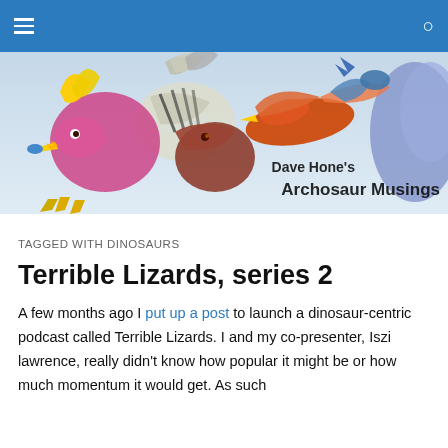Navigation bar with hamburger menu and search icon
[Figure (illustration): Colorful illustrated banner showing various archosaurs (bird-like dinosaurs and pterosaurs) in flight against a light background. Text overlay reads: Dave Hone's Archosaur Musings]
TAGGED WITH DINOSAURS
Terrible Lizards, series 2
A few months ago I put up a post to launch a dinosaur-centric podcast called Terrible Lizards. I and my co-presenter, Iszi lawrence, really didn't know how popular it might be or how much momentum it would get. As such